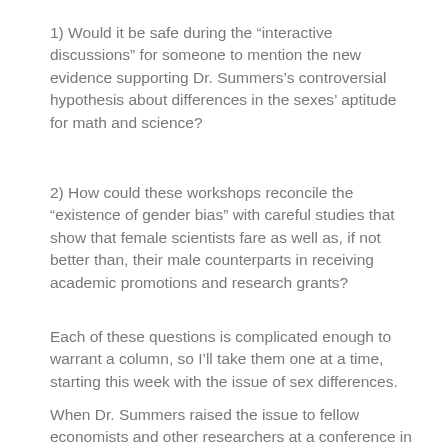1) Would it be safe during the “interactive discussions” for someone to mention the new evidence supporting Dr. Summers’s controversial hypothesis about differences in the sexes’ aptitude for math and science?
2) How could these workshops reconcile the “existence of gender bias” with careful studies that show that female scientists fare as well as, if not better than, their male counterparts in receiving academic promotions and research grants?
Each of these questions is complicated enough to warrant a column, so I’ll take them one at a time, starting this week with the issue of sex differences.
When Dr. Summers raised the issue to fellow economists and other researchers at a conference in 2005, his hypothesis was